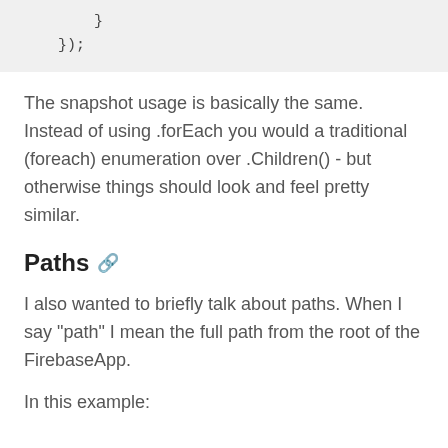}
    });
The snapshot usage is basically the same. Instead of using .forEach you would a traditional (foreach) enumeration over .Children() - but otherwise things should look and feel pretty similar.
Paths 🔗
I also wanted to briefly talk about paths. When I say "path" I mean the full path from the root of the FirebaseApp.
In this example: